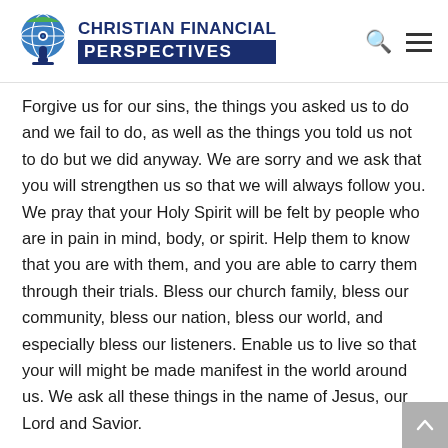CHRISTIAN FINANCIAL PERSPECTIVES
Forgive us for our sins, the things you asked us to do and we fail to do, as well as the things you told us not to do but we did anyway. We are sorry and we ask that you will strengthen us so that we will always follow you. We pray that your Holy Spirit will be felt by people who are in pain in mind, body, or spirit. Help them to know that you are with them, and you are able to carry them through their trials. Bless our church family, bless our community, bless our nation, bless our world, and especially bless our listeners. Enable us to live so that your will might be made manifest in the world around us. We ask all these things in the name of Jesus, our Lord and Savior.
Bob:
We wish you a blessed Thanksgiving. Enjoy this time with family and friends. Take some good bye for